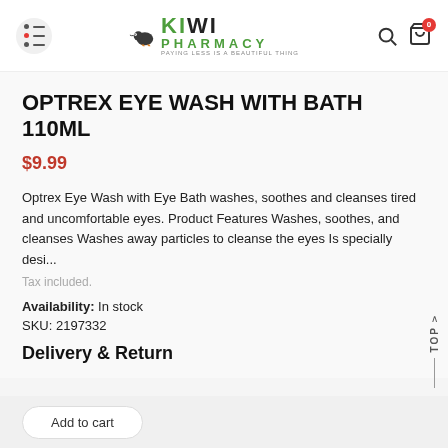Kiwi Pharmacy — PAYING LESS IS A BEAUTIFUL THING
OPTREX EYE WASH WITH BATH 110ML
$9.99
Optrex Eye Wash with Eye Bath washes, soothes and cleanses tired and uncomfortable eyes. Product Features Washes, soothes, and cleanses Washes away particles to cleanse the eyes Is specially desi...
Tax included.
Availability: In stock
SKU: 2197332
Delivery & Return